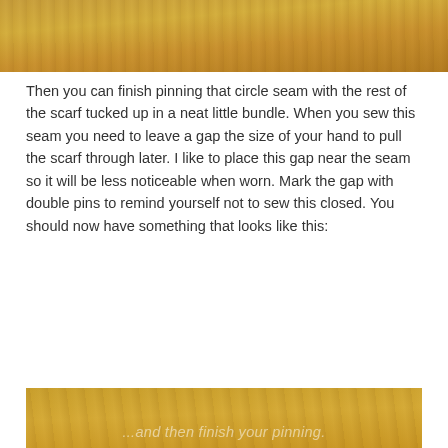[Figure (photo): Top portion of a wooden surface/table with warm orange-brown wood grain texture]
Then you can finish pinning that circle seam with the rest of the scarf tucked up in a neat little bundle. When you sew this seam you need to leave a gap the size of your hand to pull the scarf through later. I like to place this gap near the seam so it will be less noticeable when worn. Mark the gap with double pins to remind yourself not to sew this closed. You should now have something that looks like this:
[Figure (photo): Photo of a wooden surface with text overlay reading '...and then finish your pinning.' and fabric/scarf being pinned visible at bottom]
Privacy & Cookies: This site uses cookies. By continuing to use this website, you agree to their use.
To find out more, including how to control cookies, see here: Cookie Policy
Close and accept